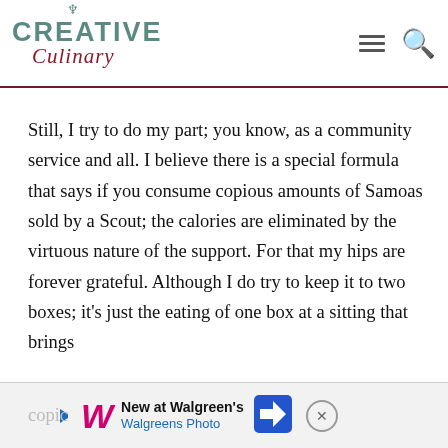[Figure (logo): Creative Culinary logo with teal CREATIVE text, cursive red Culinary text, and a decorative hook/spoon above]
Still, I try to do my part; you know, as a community service and all. I believe there is a special formula that says if you consume copious amounts of Samoas sold by a Scout; the calories are eliminated by the virtuous nature of the support. For that my hips are forever grateful. Although I do try to keep it to two boxes; it's just the eating of one box at a sitting that brings
[Figure (screenshot): Walgreens Photo advertisement banner with Walgreens W logo, 'New at Walgreen's' headline, 'Walgreens Photo' subtext, blue directional arrow icon, and close button]